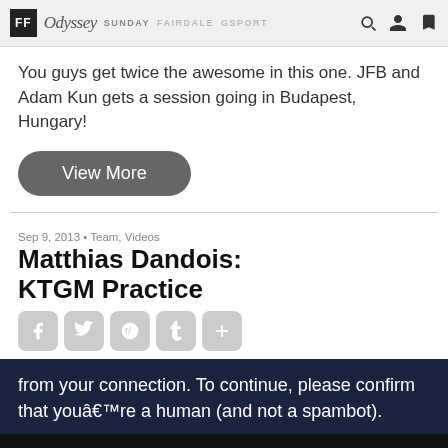FF Odyssey Sunday FAIRDALE GSPORT
You guys get twice the awesome in this one. JFB and Adam Kun gets a session going in Budapest, Hungary!
View More
Sep 9, 2013 • Team, Videos
Matthias Dandois: KTGM Practice
[Figure (infographic): Social share icons: Facebook, Twitter, Reddit, Tumblr, Add]
from your connection. To continue, please confirm that youâ€™re a human (and not a spambot).
Odyssey footer with Facebook, Twitter, Instagram, YouTube icons